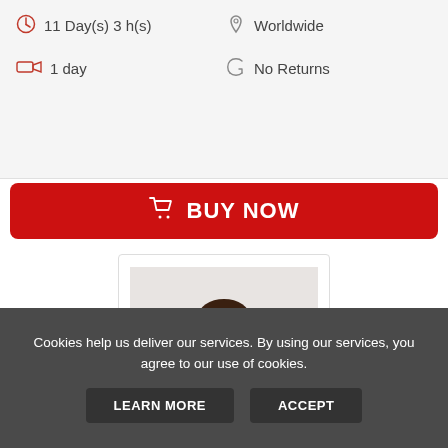11 Day(s) 3 h(s)
Worldwide
1 day
No Returns
BUY NOW
[Figure (photo): Baby doll in pink outfit lying on white background]
NEW NPK Collection 17" Pinky Reborn ...
$44.99
Cookies help us deliver our services. By using our services, you agree to our use of cookies.
LEARN MORE
ACCEPT